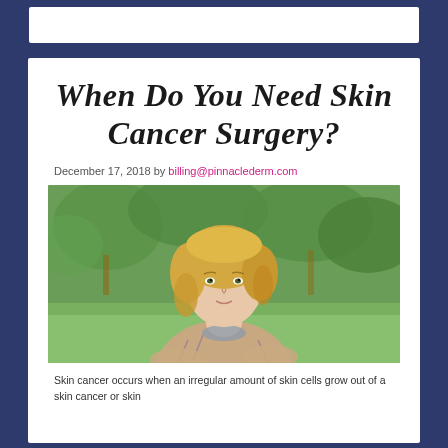When Do You Need Skin Cancer Surgery?
December 17, 2018 by billing@pinnaclederm.com
[Figure (photo): A middle-aged blonde woman wearing a patterned sweater, sitting outdoors with a green park/orchard background, looking at the camera with arms folded.]
Skin cancer occurs when an irregular amount of skin cells grow out of a skin cancer or skin